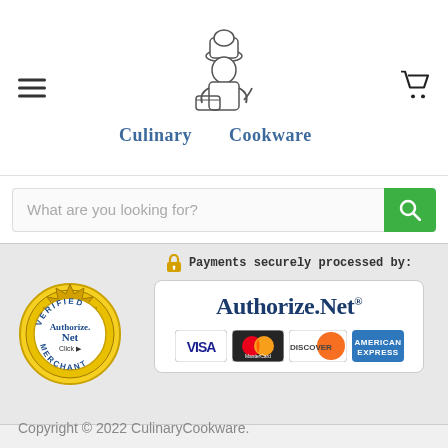[Figure (logo): Culinary Cookware logo with chef illustration and text]
What are you looking for?
[Figure (infographic): Authorize.Net Verified Merchant badge and payment methods card showing Authorize.Net with Visa, MasterCard, Discover, and American Express logos. Header: Payments securely processed by:]
Copyright © 2022 CulinaryCookware.